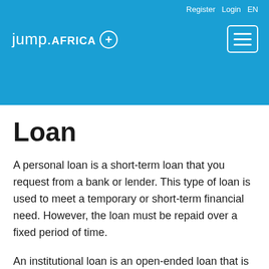Register  Login  EN
[Figure (logo): jump.AFRICA + logo in white text on blue header bar]
Loan
A personal loan is a short-term loan that you request from a bank or lender. This type of loan is used to meet a temporary or short-term financial need. However, the loan must be repaid over a fixed period of time.
An institutional loan is an open-ended loan that is meant for long-term savings and purchases. Institutional loans can be used for long-term investments, such as a house purchase, or it can be used for long-term education or retirement. You won't be able to have your loan repaid until the loan